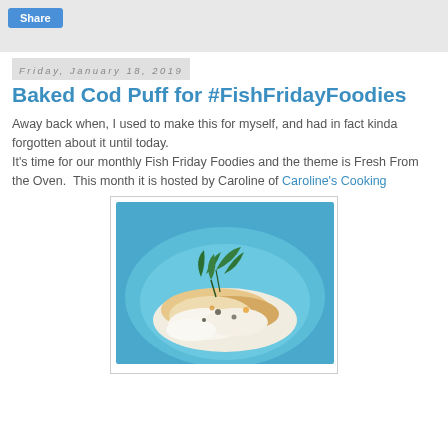[Figure (screenshot): Share button at top of blog page]
Friday, January 18, 2019
Baked Cod Puff for #FishFridayFoodies
Away back when, I used to make this for myself, and had in fact kinda forgotten about it until today.
It's time for our monthly Fish Friday Foodies and the theme is Fresh From the Oven.  This month it is hosted by Caroline of Caroline's Cooking
[Figure (photo): Photo of baked cod puff dish on a blue plate with parsley garnish]